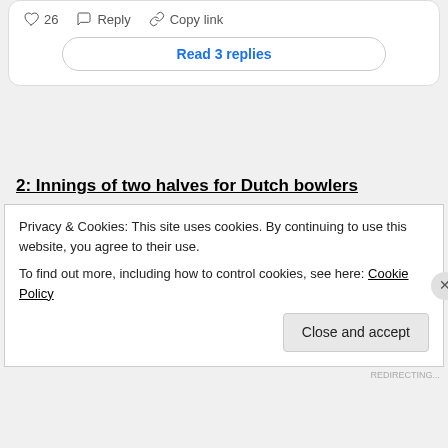[Figure (screenshot): Social media comment action bar with heart icon showing 26 likes, reply button, and copy link button, plus a 'Read 3 replies' button]
2: Innings of two halves for Dutch bowlers
Privacy & Cookies: This site uses cookies. By continuing to use this website, you agree to their use.
To find out more, including how to control cookies, see here: Cookie Policy
Close and accept